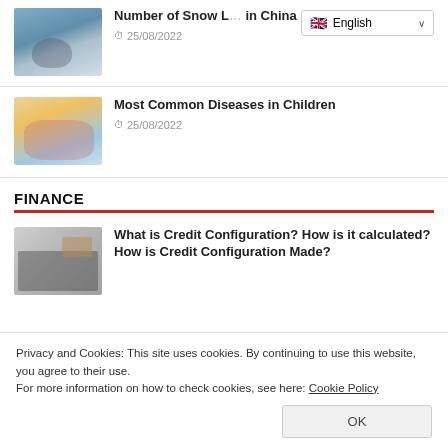[Figure (photo): Snow leopard walking in snowy landscape]
Number of Snow Leopards in China
25/08/2022
[Figure (photo): Three children in swimwear outdoors, smiling]
Most Common Diseases in Children
25/08/2022
FINANCE
[Figure (photo): Hand pointing at calculator on desk]
What is Credit Configuration? How is it calculated? How is Credit Configuration Made?
Privacy and Cookies: This site uses cookies. By continuing to use this website, you agree to their use.
For more information on how to check cookies, see here: Cookie Policy